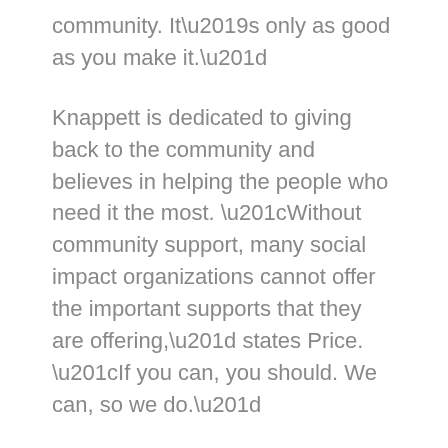community. It’s only as good as you make it.”
Knappett is dedicated to giving back to the community and believes in helping the people who need it the most. “Without community support, many social impact organizations cannot offer the important supports that they are offering,” states Price. “If you can, you should. We can, so we do.”
Knappett has participated in the #LunchBoxChallenge the last two years and values the importance of being involved in Construction Month.